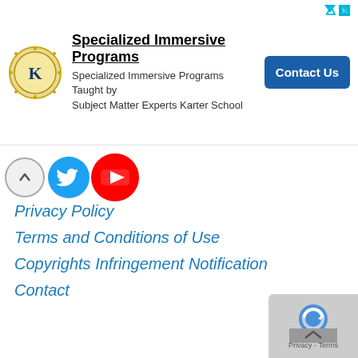[Figure (other): Ad banner for Karter School Specialized Immersive Programs with logo, text, and Contact Us button]
[Figure (other): Social media icons: Facebook (partially visible), Twitter, YouTube, with up arrow]
Privacy Policy
Terms and Conditions of Use
Copyrights Infringement Notification
Contact
Credit and sources
H5P
Freepik
Hot Potato
jsWordsearch
[Figure (other): reCAPTCHA badge at bottom right with Privacy - Terms text]